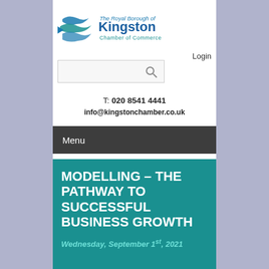[Figure (logo): The Royal Borough of Kingston Chamber of Commerce logo with stylized fish/wave icon in blue and teal]
Login
[Figure (screenshot): Search input box with magnifying glass icon]
T: 020 8541 4441
info@kingstonchamber.co.uk
Menu
MODELLING – THE PATHWAY TO SUCCESSFUL BUSINESS GROWTH
Wednesday, September 1st, 2021